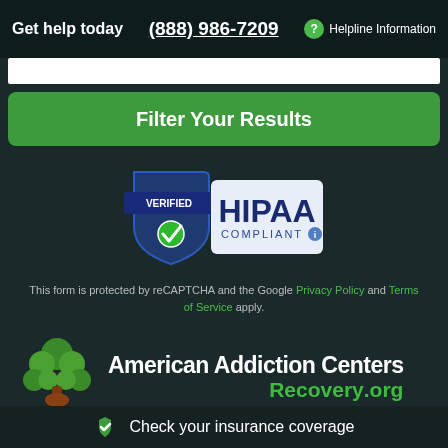Get help today  (888) 986-7209  Helpline Information
[Figure (screenshot): Partial input/search bar at top of filter form]
Filter Your Results
[Figure (logo): VERIFIED HIPAA COMPLIANT badge with shield and checkmark]
This form is protected by reCAPTCHA and the Google Privacy Policy and Terms of Service apply.
[Figure (logo): American Addiction Centers Recovery.org logo with green tree icon]
Browse rehab centers by state
Check your insurance coverage